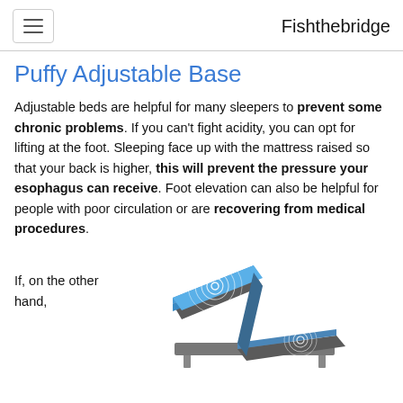Fishthebridge
Puffy Adjustable Base
Adjustable beds are helpful for many sleepers to prevent some chronic problems. If you can't fight acidity, you can opt for lifting at the foot. Sleeping face up with the mattress raised so that your back is higher, this will prevent the pressure your esophagus can receive. Foot elevation can also be helpful for people with poor circulation or are recovering from medical procedures.
If, on the other hand,
[Figure (illustration): Illustration of an adjustable bed base with blue mattress sections raised at an angle, showing concentric circle patterns on the mattress surface. The bed frame is gray/dark colored.]